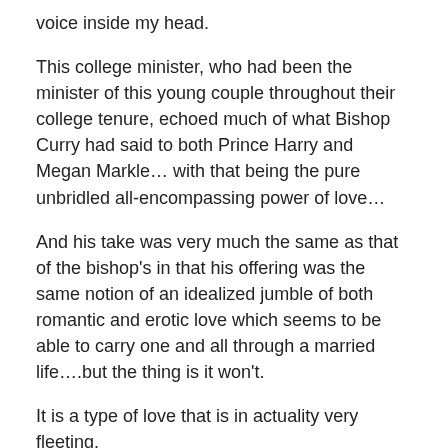voice inside my head.
This college minister, who had been the minister of this young couple throughout their college tenure, echoed much of what Bishop Curry had said to both Prince Harry and Megan Markle… with that being the pure unbridled all-encompassing power of love…
And his take was very much the same as that of the bishop's in that his offering was the same notion of an idealized jumble of both romantic and erotic love which seems to be able to carry one and all through a married life….but the thing is it won't.
It is a type of love that is in actuality very fleeting.